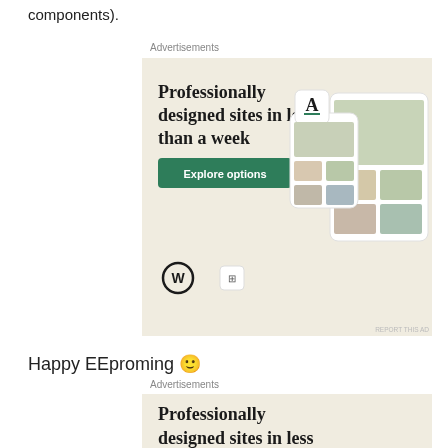components).
Advertisements
[Figure (other): WordPress advertisement banner: 'Professionally designed sites in less than a week' with green 'Explore options' button, WordPress logo, and website mockup screenshots on beige background. REPORT THIS AD link at bottom right.]
Happy EEproming 🙂
Advertisements
[Figure (other): WordPress advertisement banner (partial, cut off): 'Professionally designed sites in less...' on beige background.]